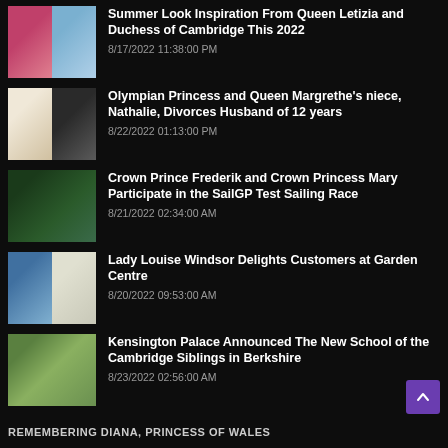Summer Look Inspiration From Queen Letizia and Duchess of Cambridge This 2022 — 8/17/2022 11:38:00 PM
Olympian Princess and Queen Margrethe's niece, Nathalie, Divorces Husband of 12 years — 8/22/2022 01:13:00 PM
Crown Prince Frederik and Crown Princess Mary Participate in the SailGP Test Sailing Race — 8/21/2022 02:34:00 AM
Lady Louise Windsor Delights Customers at Garden Centre — 8/20/2022 09:53:00 AM
Kensington Palace Announced The New School of the Cambridge Siblings in Berkshire — 8/23/2022 02:56:00 AM
REMEMBERING DIANA, PRINCESS OF WALES